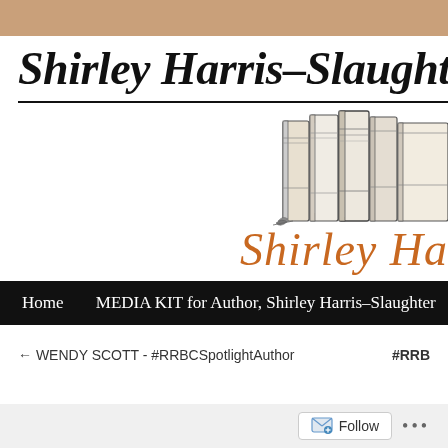Shirley Harris–Slaughter
[Figure (illustration): Stack of books illustration (vintage/line-art style), showing several books standing upright together]
Shirley Ha
Home    MEDIA KIT for Author, Shirley Harris–Slaughter
← WENDY SCOTT - #RRBCSpotlightAuthor    #RRB
Follow  ...